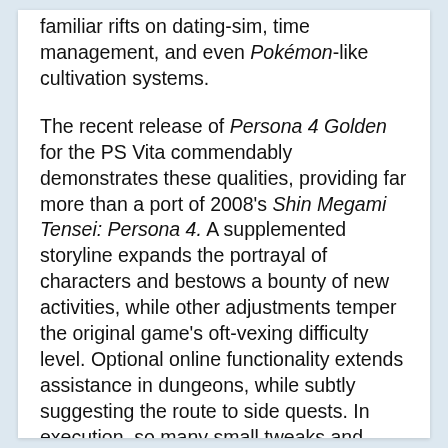familiar rifts on dating-sim, time management, and even Pokémon-like cultivation systems.
The recent release of Persona 4 Golden for the PS Vita commendably demonstrates these qualities, providing far more than a port of 2008's Shin Megami Tensei: Persona 4. A supplemented storyline expands the portrayal of characters and bestows a bounty of new activities, while other adjustments temper the original game's oft-vexing difficulty level. Optional online functionality extends assistance in dungeons, while subtly suggesting the route to side quests. In execution, so many small tweaks and additions are integrated into the title that Persona 4 Golden occasionally feels like a fresh experience.